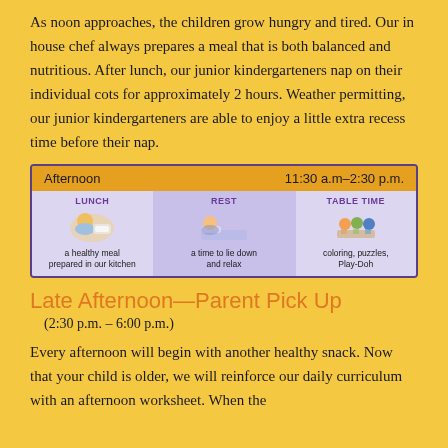As noon approaches, the children grow hungry and tired. Our in house chef always prepares a meal that is both balanced and nutritious. After lunch, our junior kindergarteners nap on their individual cots for approximately 2 hours. Weather permitting, our junior kindergarteners are able to enjoy a little extra recess time before their nap.
[Figure (infographic): Schedule infographic showing Afternoon 11:30 a.m–2:30 p.m. with three sections: LUNCH (a healthy meal prepared in our kitchen), REST (a time to lie down and relax), TABLE TIME (coloring, puzzles, Play-Doh)]
Late Afternoon—Parent Pick Up
(2:30 p.m. – 6:00 p.m.)
Every afternoon will begin with another healthy snack. Now that your child is older, we will reinforce our daily curriculum with an afternoon worksheet. When the